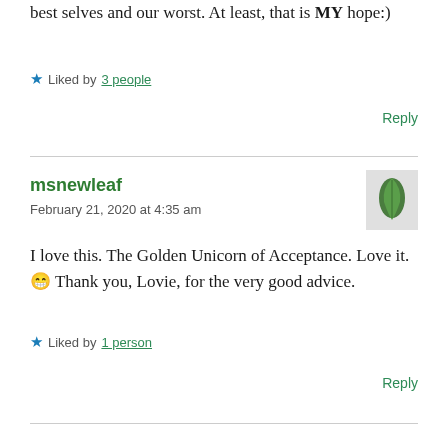best selves and our worst. At least, that is MY hope:)
Liked by 3 people
Reply
msnewleaf
February 21, 2020 at 4:35 am
[Figure (illustration): Green leaf avatar icon on light gray background]
I love this. The Golden Unicorn of Acceptance. Love it. 😁 Thank you, Lovie, for the very good advice.
Liked by 1 person
Reply